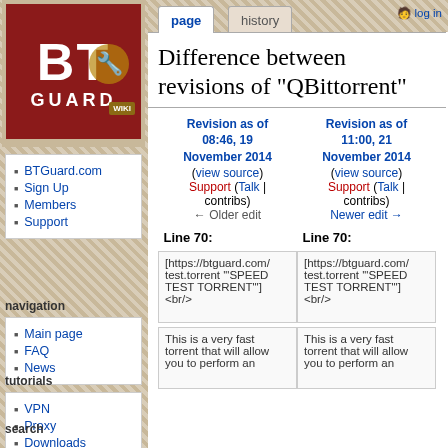[Figure (logo): BTGuard Wiki logo — red square with white bold BT letters, wrench icon, WIKI badge, GUARD text below]
BTGuard.com
Sign Up
Members
Support
navigation
Main page
FAQ
News
tutorials
VPN
Proxy
Downloads
search
page | history | log in
Difference between revisions of "QBittorrent"
Revision as of 08:46, 19 November 2014 (view source) Support (Talk | contribs) ← Older edit
Revision as of 11:00, 21 November 2014 (view source) Support (Talk | contribs) Newer edit →
Line 70:
Line 70:
[https://btguard.com/test.torrent '"SPEED TEST TORRENT"'] <br/>
[https://btguard.com/test.torrent '"SPEED TEST TORRENT"'] <br/>
This is a very fast torrent that will allow you to perform an
This is a very fast torrent that will allow you to perform an